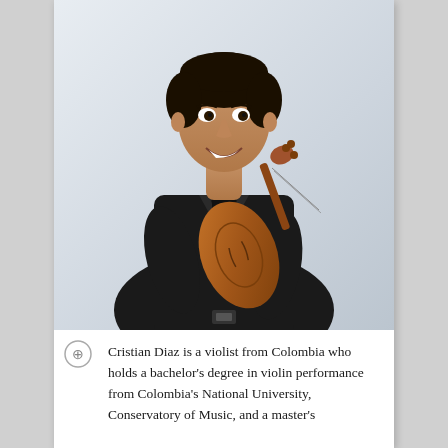[Figure (photo): Professional headshot of Cristian Diaz, a young man in a black suit holding a violin, smiling, against a light grey-blue background.]
Cristian Diaz is a violist from Colombia who holds a bachelor's degree in violin performance from Colombia's National University, Conservatory of Music, and a master's